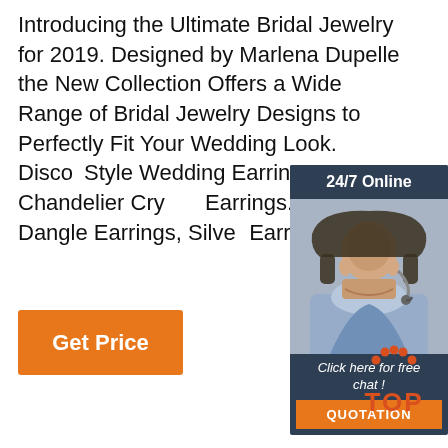Introducing the Ultimate Bridal Jewelry for 2019. Designed by Marlena Dupelle the New Collection Offers a Wide Range of Bridal Jewelry Designs to Perfectly Fit Your Wedding Look. Discover Style Wedding Earrings: Chandelier Crystal Earrings. Luxury Dangle Earrings, Silver Earrings, S
[Figure (other): Advertisement widget with dark navy background. Shows '24/7 Online' header, photo of a woman with a headset smiling, text 'Click here for free chat!' and an orange 'QUOTATION' button.]
[Figure (other): Orange 'Get Price' button]
[Figure (logo): TOP logo with orange dots arranged in an arc above the word TOP in orange bold text]